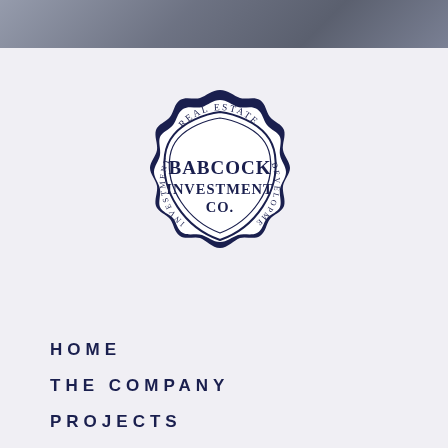[Figure (logo): Babcock Investment Co. real estate development seal/badge logo in dark navy blue. Scalloped circular outer border with shield shape inside. Text reads: REAL ESTATE (top arc), BABCOCK INVESTMENT CO. (center shield), DEVELOPMENT (right arc), INVESTMENT (left arc).]
HOME
THE COMPANY
PROJECTS